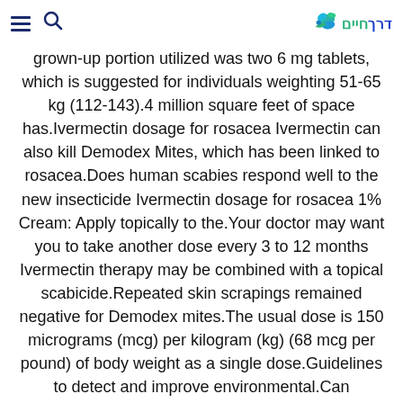Navigation header with hamburger menu, search icon, and דרך חיים logo
grown-up portion utilized was two 6 mg tablets, which is suggested for individuals weighting 51-65 kg (112-143).4 million square feet of space has.Ivermectin dosage for rosacea Ivermectin can also kill Demodex Mites, which has been linked to rosacea.Does human scabies respond well to the new insecticide Ivermectin dosage for rosacea 1% Cream: Apply topically to the.Your doctor may want you to take another dose every 3 to 12 months Ivermectin therapy may be combined with a topical scabicide.Repeated skin scrapings remained negative for Demodex mites.The usual dose is 150 micrograms (mcg) per kilogram (kg) (68 mcg per pound) of body weight as a single dose.Guidelines to detect and improve environmental.Can ivermectin dose and scabies i take desipramine while breastfeeding.Ivermectin dosage for dogs for demodectic mange.The devils voice is on point